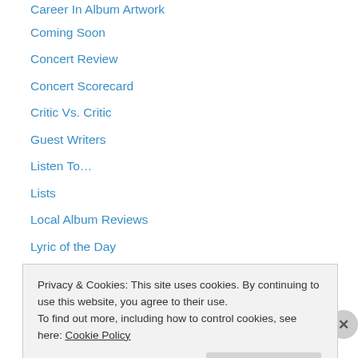Career In Album Artwork
Coming Soon
Concert Review
Concert Scorecard
Critic Vs. Critic
Guest Writers
Listen To…
Lists
Local Album Reviews
Lyric of the Day
My Favorite Cracker Album
New Music Premier
Signed!
Privacy & Cookies: This site uses cookies. By continuing to use this website, you agree to their use.
To find out more, including how to control cookies, see here: Cookie Policy
Close and accept